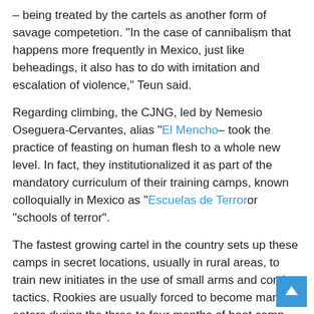– being treated by the cartels as another form of savage competition. "In the case of cannibalism that happens more frequently in Mexico, just like beheadings, it also has to do with imitation and escalation of violence," Teun said.
Regarding climbing, the CJNG, led by Nemesio Oseguera-Cervantes, alias "El Mencho– took the practice of feasting on human flesh to a whole new level. In fact, they institutionalized it as part of the mandatory curriculum of their training camps, known colloquially in Mexico as "Escuelas de Terror" or "schools of terror".
The fastest growing cartel in the country sets up these camps in secret locations, usually in rural areas, to train new initiates in the use of small arms and combat tactics. Rookies are usually forced to become man-eaters during the three to four months of boot camp, experts told The Daily Beast.
"I went there and there were a lot of [cannibalism] said a CJN... member who agreed to speak to The Daily Beast only on